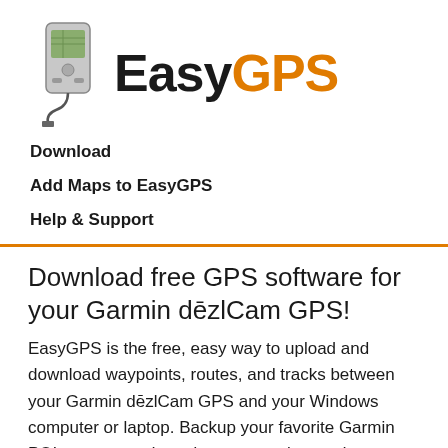[Figure (logo): EasyGPS logo with GPS device image on the left and 'EasyGPS' text where 'Easy' is black and 'GPS' is orange]
Download
Add Maps to EasyGPS
Help & Support
Download free GPS software for your Garmin dēzlCam GPS!
EasyGPS is the free, easy way to upload and download waypoints, routes, and tracks between your Garmin dēzlCam GPS and your Windows computer or laptop. Backup your favorite Garmin POIs, create and send new waypoints and geocaches to your GPS, or print a map of